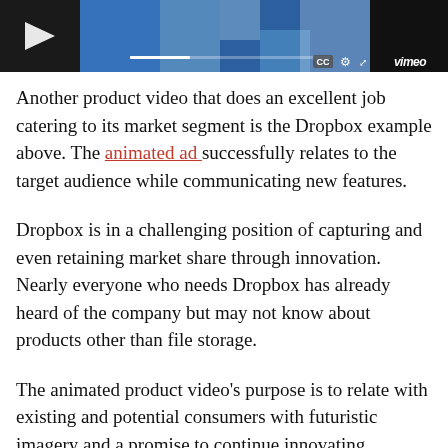[Figure (screenshot): Vimeo video player thumbnail showing animated Dropbox product video with play button, progress bar, CC button, settings gear icon, fullscreen icon, and Vimeo logo on dark background with colorful imagery.]
Another product video that does an excellent job catering to its market segment is the Dropbox example above. The animated ad successfully relates to the target audience while communicating new features.
Dropbox is in a challenging position of capturing and even retaining market share through innovation. Nearly everyone who needs Dropbox has already heard of the company but may not know about products other than file storage.
The animated product video's purpose is to relate with existing and potential consumers with futuristic imagery and a promise to continue innovating.